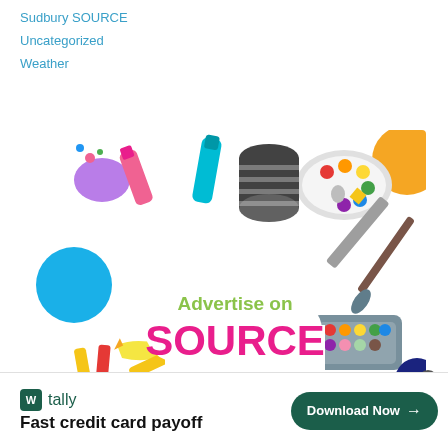Sudbury SOURCE
Uncategorized
Weather
[Figure (illustration): Colorful advertisement banner showing art supplies (paintbrushes, pencils, paint tubes, watercolor palette) surrounding a cloud shape with text 'Advertise on SOURCE' where SOURCE is in large pink letters and 'Advertise on' is in green.]
[Figure (infographic): Bottom advertisement banner for Tally app: dark green Tally icon logo, text 'tally' and 'Fast credit card payoff', with a dark green 'Download Now' button with arrow on the right side.]